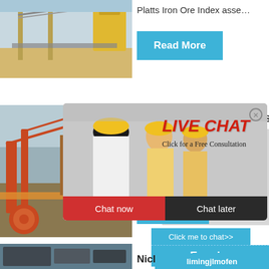[Figure (photo): Industrial mining equipment / conveyor belt facility outdoors]
Platts Iron Ore Index asse…
Read More
[Figure (photo): Mining site with orange machinery and conveyor structures]
hour online
[Figure (photo): Live chat popup with smiling engineer woman and colleagues in hard hats]
LIVE CHAT
Click for a Free Consultation
Chat now
Chat later
Read
[Figure (photo): Industrial crusher machine, gray with red wheel]
Click me to chat>>
Enquiry
[Figure (photo): Dark mineral/ore close-up at bottom left]
Nickel O
limingjlmofen